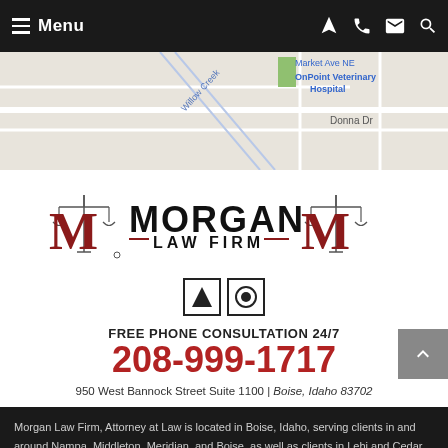Menu
[Figure (map): Street map showing Donna Dr, Willow Creek area, OnPoint Veterinary Hospital, and Market Ave NE]
[Figure (logo): Morgan Law Firm logo with scales of justice and large M letters in red and black]
[Figure (other): Two social media icon boxes - AVVO and WiseShot/Martindale]
FREE PHONE CONSULTATION 24/7
208-999-1717
950 West Bannock Street Suite 1100 | Boise, Idaho 83702
Morgan Law Firm, Attorney at Law is located in Boise, Idaho, serving clients in and around Nampa, Middleton, Meridian, and Boise, as well as clients in Lehi and Cedar Hills...